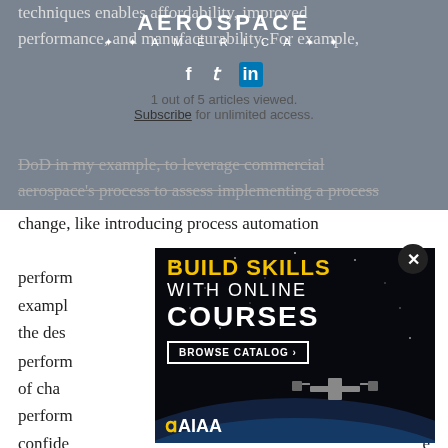AEROSPACE AMERICA
techniques enables affordability, improved performance, and manufacturability. For example,
1 out of 5 articles viewed.
Subscribe for unlimited access.
DoD in my example, to leverage commercial aerospace's process to assess implementing a process change, like introducing process automation perform... her example... ing the des... perform... pacts of cha... is perform... more confide... e
[Figure (screenshot): AIAA online courses advertisement overlay on article page. Text reads: BUILD SKILLS WITH ONLINE COURSES. BROWSE CATALOG >. AIAA logo at bottom left with space station image.]